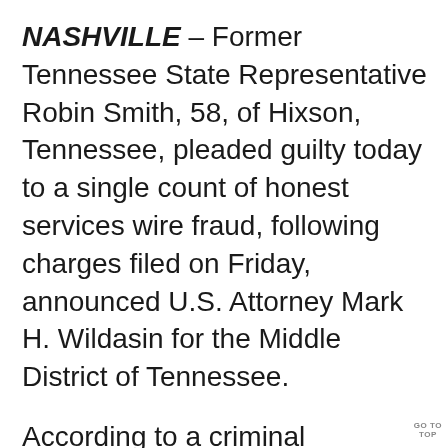NASHVILLE – Former Tennessee State Representative Robin Smith, 58, of Hixson, Tennessee, pleaded guilty today to a single count of honest services wire fraud, following charges filed on Friday, announced U.S. Attorney Mark H. Wildasin for the Middle District of Tennessee.
According to a criminal Information filed Friday in U.S. District Court, Smith, representing Tennessee House District 26, engaged in a fraudulent scheme with others to contract with Phoenix Soluti